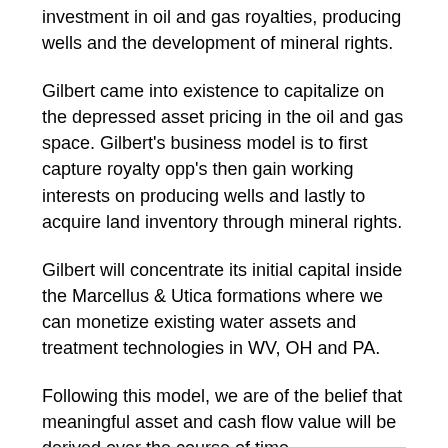investment in oil and gas royalties, producing wells and the development of mineral rights.
Gilbert came into existence to capitalize on the depressed asset pricing in the oil and gas space. Gilbert's business model is to first capture royalty opp's then gain working interests on producing wells and lastly to acquire land inventory through mineral rights.
Gilbert will concentrate its initial capital inside the Marcellus & Utica formations where we can monetize existing water assets and treatment technologies in WV, OH and PA.
Following this model, we are of the belief that meaningful asset and cash flow value will be derived over the course of time.